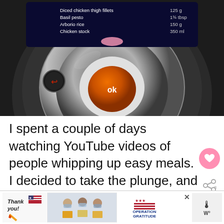[Figure (photo): Close-up photo of a cooking device (Cook4Me) showing a digital screen with recipe ingredients listed (Basil pesto 1¾ tbsp, Arborio rice 150g, Chicken stock 350ml), a back button, and a large dial with orange OK button in the center]
I spent a couple of days watching YouTube videos of people whipping up easy meals. I decided to take the plunge, and have a go. The ridiculous thing is I set aside e[x]… something you do.The Cook4Me cooks quick a[nd]…
[Figure (other): WHAT'S NEXT arrow thumbnail: Quick Chicken Risotto with...]
[Figure (other): Advertisement banner: Operation Gratitude - Thank you! with image of medical workers holding packages]